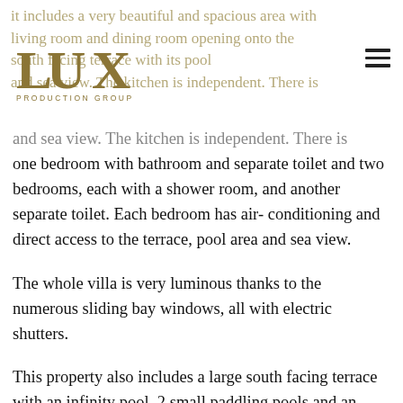it includes a very beautiful and spacious area with living room and dining room opening onto the south facing terrace with its pool and sea view. The kitchen is independent. There is
[Figure (logo): LUX Production Group logo in gold/dark serif font]
one bedroom with bathroom and separate toilet and two bedrooms, each with a shower room, and another separate toilet. Each bedroom has air-conditioning and direct access to the terrace, pool area and sea view.
The whole villa is very luminous thanks to the numerous sliding bay windows, all with electric shutters.
This property also includes a large south facing terrace with an infinity pool, 2 small paddling pools and an outdoors shower all with a